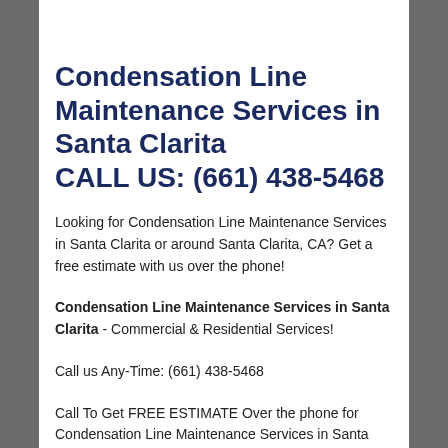Condensation Line Maintenance Services in Santa Clarita CALL US: (661) 438-5468
Looking for Condensation Line Maintenance Services in Santa Clarita or around Santa Clarita, CA? Get a free estimate with us over the phone!
Condensation Line Maintenance Services in Santa Clarita - Commercial & Residential Services!
Call us Any-Time: (661) 438-5468
Call To Get FREE ESTIMATE Over the phone for Condensation Line Maintenance Services in Santa Clarita...